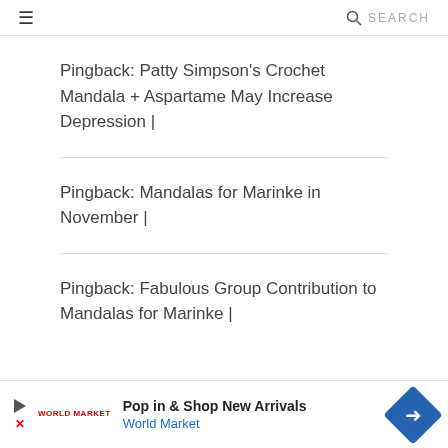≡  🔍 SEARCH
Pingback: Patty Simpson's Crochet Mandala + Aspartame May Increase Depression |
Pingback: Mandalas for Marinke in November |
Pingback: Fabulous Group Contribution to Mandalas for Marinke |
[Figure (other): Advertisement banner for World Market: Pop in & Shop New Arrivals with play button icon, World Market branding, and blue diamond arrow icon]